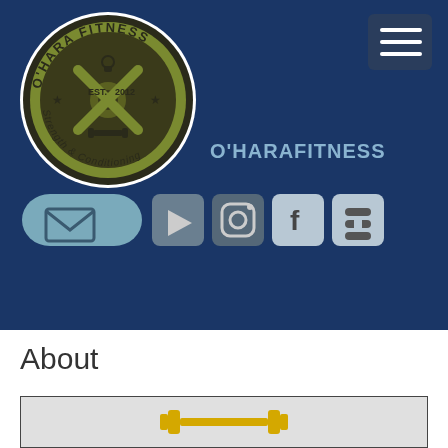[Figure (logo): O'Hara Fitness circular logo with kettlebell, barbell, and weight plate design, olive/army green color, EST. 2012, Strength & Conditioning text]
O'HARAFITNESS
[Figure (infographic): Social media icon bar with email (envelope), YouTube (play button), Instagram, Facebook, and Blogger icons on dark navy background]
About
[Figure (illustration): Partial view of a card with yellow/gold dumbbell/barbell icon on light gray background with dark border]